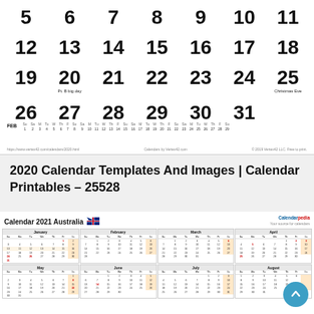[Figure (other): Portion of a large-format monthly calendar showing dates 5–31, with notes under 20 ('Pt. B big day') and 25 ('Christmas Eve'). Below the main dates is a mini February calendar row and footer credits.]
2020 Calendar Templates And Images | Calendar Printables – 25528
[Figure (other): Calendar 2021 Australia showing January through August monthly grids with Australian flag, in a 4-column layout. A teal scroll-to-top button appears at bottom right.]